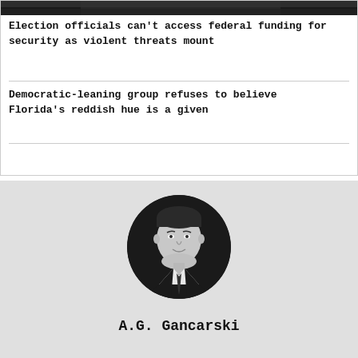[Figure (photo): Dark photo strip at top of card, showing partial view of a face or object in grayscale]
Election officials can't access federal funding for security as violent threats mount
Democratic-leaning group refuses to believe Florida's reddish hue is a given
[Figure (photo): Black and white circular portrait photo of A.G. Gancarski, a man in a suit and tie]
A.G. Gancarski